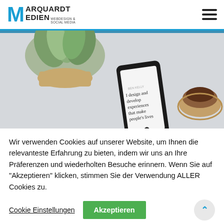Marquardt Medien Webdesign & Social Media
[Figure (photo): Hero image showing a smartphone on a desk displaying a portfolio website with text 'I design and develop experiences that make people's lives', alongside a succulent plant in a pot and a coffee cup on a coaster]
Wir verwenden Cookies auf unserer Website, um Ihnen die relevanteste Erfahrung zu bieten, indem wir uns an Ihre Präferenzen und wiederholten Besuche erinnern. Wenn Sie auf "Akzeptieren" klicken, stimmen Sie der Verwendung ALLER Cookies zu.
Cookie Einstellungen | Akzeptieren